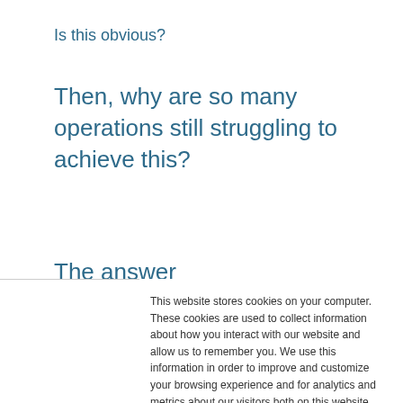Is this obvious?
Then, why are so many operations still struggling to achieve this?
The answer
This website stores cookies on your computer. These cookies are used to collect information about how you interact with our website and allow us to remember you. We use this information in order to improve and customize your browsing experience and for analytics and metrics about our visitors both on this website and other media. To find out more about the cookies we use, see our Privacy Policy.
If you decline, your information won't be tracked when you visit this website. A single cookie will be used in your browser to remember your preference not to be tracked.